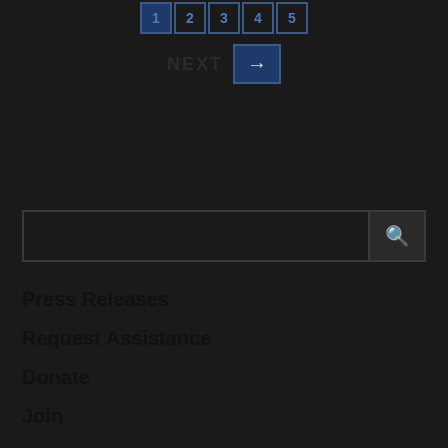1 2 3 4 5
NEXT →
[Figure (screenshot): Search input box with magnifying glass search button on right]
Press Releases
Request Assistance
Donate
Join